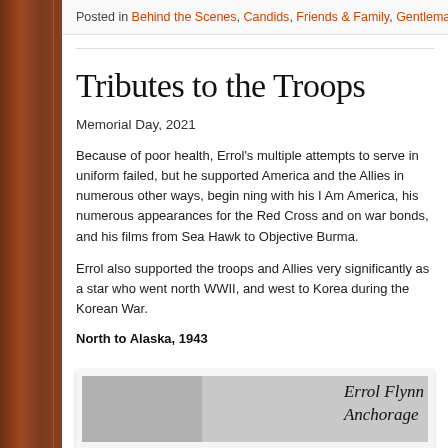Posted in Behind the Scenes, Candids, Friends & Family, Gentleman Tim, Newspaper
Tributes to the Troops
Memorial Day, 2021
Because of poor health, Errol's multiple attempts to serve in uniform failed, but he supported America and the Allies in numerous other ways, beginning with his I Am America, his numerous appearances for the Red Cross and on war bonds, and his films from Sea Hawk to Objective Burma.
Errol also supported the troops and Allies very significantly as a star who went north WWII, and west to Korea during the Korean War.
North to Alaska, 1943
[Figure (photo): Black and white photograph with handwritten inscription reading 'Errol Flynn Anchorage']